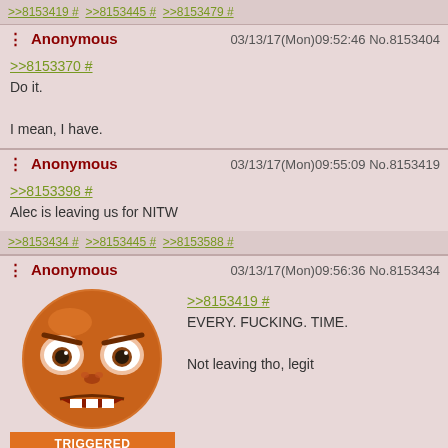>>8153419 # >>8153445 # >>8153479 #
Anonymous 03/13/17(Mon)09:52:46 No.8153404
>>8153370 #
Do it.
I mean, I have.
Anonymous 03/13/17(Mon)09:55:09 No.8153419
>>8153398 #
Alec is leaving us for NITW
>>8153434 # >>8153445 # >>8153588 #
Anonymous 03/13/17(Mon)09:56:36 No.8153434
>>8153419 #
EVERY. FUCKING. TIME.
Not leaving tho, legit
[Figure (illustration): Cartoon character TRIGGERED meme face with angry expression, orange/brown tones]
55 KB GIF
(bottom post header, partially visible)